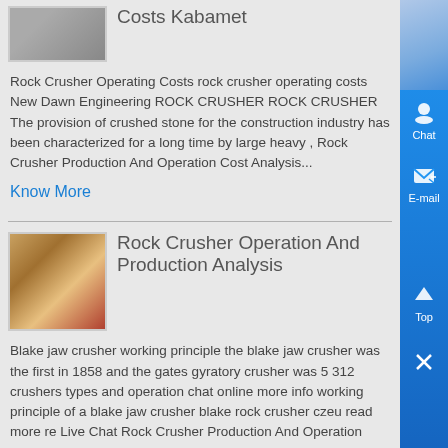Costs Kabamet
Rock Crusher Operating Costs rock crusher operating costs New Dawn Engineering ROCK CRUSHER ROCK CRUSHER The provision of crushed stone for the construction industry has been characterized for a long time by large heavy , Rock Crusher Production And Operation Cost Analysis...
Know More
[Figure (photo): Thumbnail image of rock crusher equipment]
Rock Crusher Operation And Production Analysis
Blake jaw crusher working principle the blake jaw crusher was the first in 1858 and the gates gyratory crusher was 5 312 crushers types and operation chat online more info working principle of a blake jaw crusher blake rock crusher czeu read more re Live Chat Rock Crusher Production And Operation Cost Analysis C6X Jaw Crusher